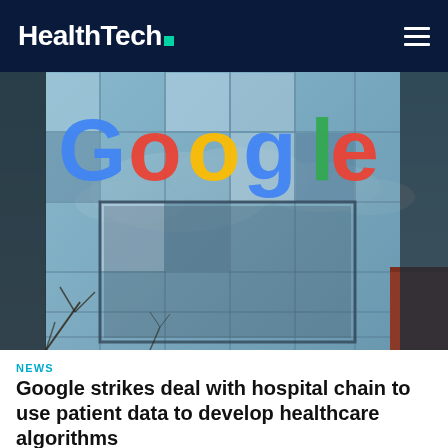HealthTech
[Figure (photo): Google logo on a glass office building facade with blue sky and clouds reflected in the windows. Colorful Google lettering in blue, red, yellow, and green mounted on a modern glass curtain wall building exterior.]
NEWS
Google strikes deal with hospital chain to use patient data to develop healthcare algorithms